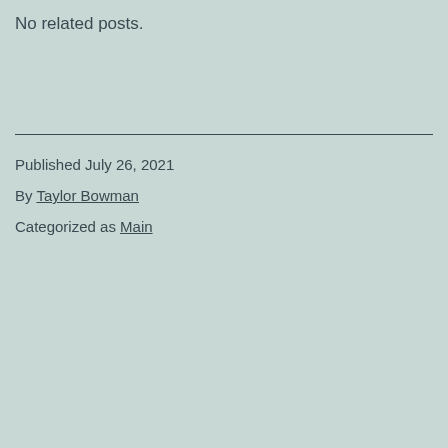No related posts.
Published July 26, 2021
By Taylor Bowman
Categorized as Main